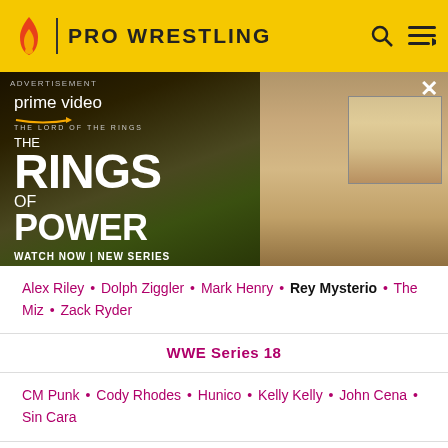PRO WRESTLING
[Figure (photo): Amazon Prime Video advertisement for The Lord of the Rings: The Rings of Power. Shows cast members in a fantasy landscape. Text: prime video, THE LORD OF THE RINGS THE RINGS OF POWER, WATCH NOW | NEW SERIES]
Alex Riley • Dolph Ziggler • Mark Henry • Rey Mysterio • The Miz • Zack Ryder
WWE Series 18
CM Punk • Cody Rhodes • Hunico • Kelly Kelly • John Cena • Sin Cara
WWE Series 19
Alicia Fox • Evan Bourne • Hornswoggle • Jinder Mahal • ...